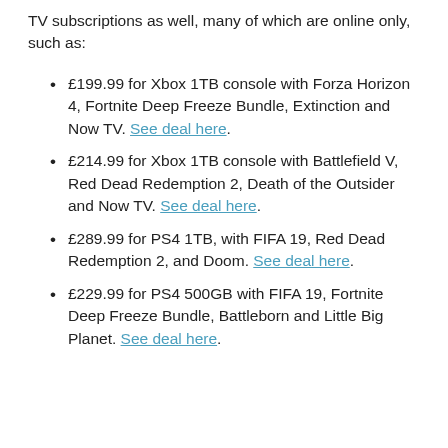TV subscriptions as well, many of which are online only, such as:
£199.99 for Xbox 1TB console with Forza Horizon 4, Fortnite Deep Freeze Bundle, Extinction and Now TV. See deal here.
£214.99 for Xbox 1TB console with Battlefield V, Red Dead Redemption 2, Death of the Outsider and Now TV. See deal here.
£289.99 for PS4 1TB, with FIFA 19, Red Dead Redemption 2, and Doom. See deal here.
£229.99 for PS4 500GB with FIFA 19, Fortnite Deep Freeze Bundle, Battleborn and Little Big Planet. See deal here.